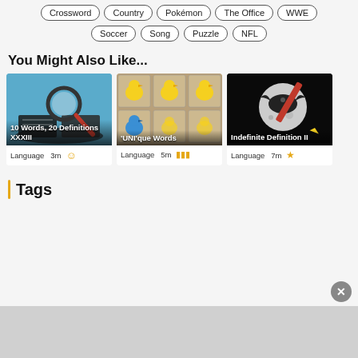Crossword
Country
Pokémon
The Office
WWE
Soccer
Song
Puzzle
NFL
You Might Also Like...
[Figure (photo): 10 Words, 20 Definitions XXXIII — magnifying glass over open book]
Language   3m  [person icon]
[Figure (photo): 'UNI'que Words — rubber ducks in grid, one blue among yellow]
Language   5m  [keyboard icon]
[Figure (photo): Indefinite Definition II — bat with umbrella against moon with red pencil]
Language   7m  [icon]
Tags